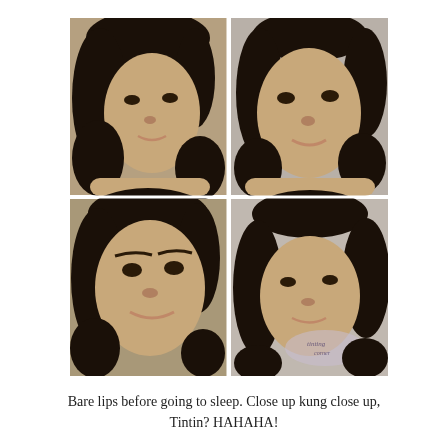[Figure (photo): A 2x2 grid of four close-up selfie photos of a young Southeast Asian woman with dark curly hair, bare face/bare lips, taken before sleep. Bottom-right photo has a watermark logo overlay.]
Bare lips before going to sleep. Close up kung close up, Tintin? HAHAHA!